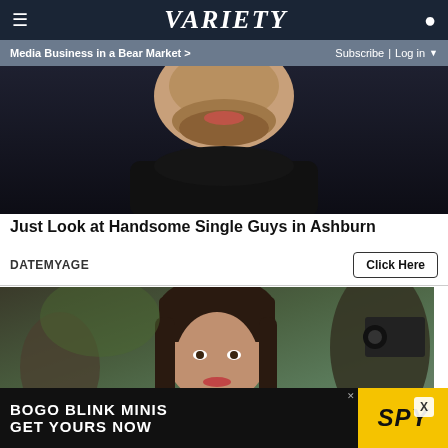VARIETY | Media Business in a Bear Market > | Subscribe | Log in
[Figure (photo): Close-up photo of a man with beard and stubble, wearing dark clothing, cropped to show mouth and chin area, dark background]
Just Look at Handsome Single Guys in Ashburn
DATEMYAGE
Click Here
[Figure (photo): Photo of a young woman with dark hair and bangs at what appears to be a red carpet event, photographers visible in background, wearing dark clothing]
[Figure (photo): Advertisement banner: BOGO BLINK MINIS GET YOURS NOW with SPY logo on yellow background]